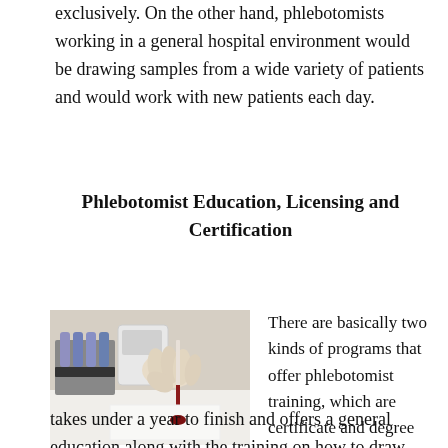exclusively. On the other hand, phlebotomists working in a general hospital environment would be drawing samples from a wide variety of patients and would work with new patients each day.
Phlebotomist Education, Licensing and Certification
[Figure (photo): A gloved hand holding a blood collection tube with a blood sample, with laboratory vials and equipment in the background on a white surface.]
There are basically two kinds of programs that offer phlebotomist training, which are certificate and degree programs. The certificate program generally takes under a year to finish and offers a general education along with the training on how to draw blood. It provides the